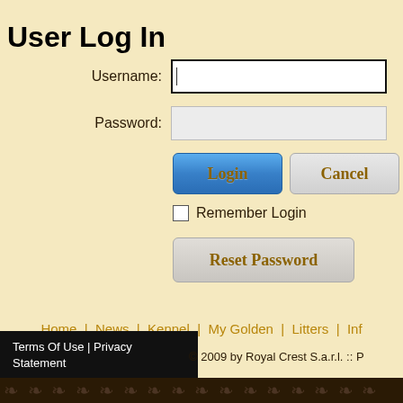User Log In
Username:
Password:
Login
Cancel
Remember Login
Reset Password
Home | News | Kennel | My Golden | Litters | Inf
Terms Of Use | Privacy Statement
© 2009 by Royal Crest S.a.r.l. :: P